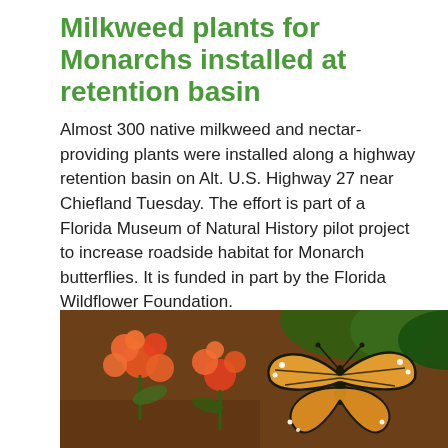Milkweed plants for Monarchs installed at retention basin
Almost 300 native milkweed and nectar-providing plants were installed along a highway retention basin on Alt. U.S. Highway 27 near Chiefland Tuesday. The effort is part of a Florida Museum of Natural History pilot project to increase roadside habitat for Monarch butterflies. It is funded in part by the Florida Wildflower Foundation.
[Figure (photo): A Monarch butterfly with orange and black wings perched on bright orange milkweed flowers (butterfly weed), with a blurred green and brown background.]